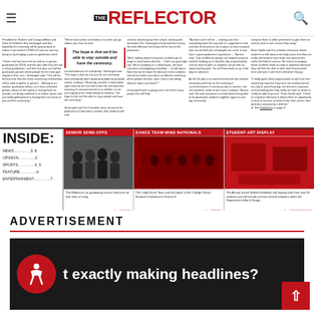THE REFLECTOR
[Figure (photo): Newspaper front page of The Reflector showing article columns about graduation and campus events]
INSIDE:
NEWS...............3, 8
OPINION...............2
SPORTS...............4, 5
FEATURE...............6
ENTERTAINMENT...............7
SENIOR SEND-OFFS
The Reflector's six graduating seniors look back on their time at Lindy.
DANCE TEAM WINS NATIONALS
The Lindy Dance Team won first place at the College Classic National Invitational in Division II.
STUDENT ART DISPLAY
The Annual Juried Student Exhibition will display work from over 50 students and will include art from several mediums within the Department of Art & Design.
ADVERTISEMENT
[Figure (photo): Advertisement banner with accessibility icon and headline text 'exactly making headlines?' on dark background]